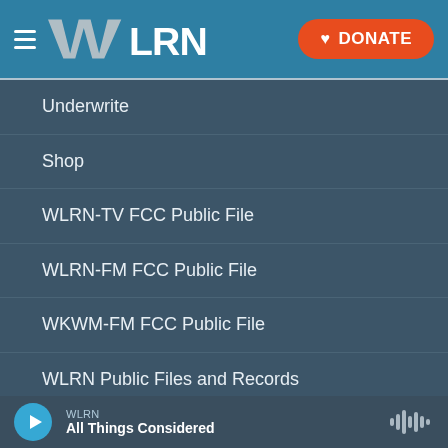WLRN — DONATE
Underwrite
Shop
WLRN-TV FCC Public File
WLRN-FM FCC Public File
WKWM-FM FCC Public File
WLRN Public Files and Records
EEO Report
Station Public Files Contact -
WLRN — All Things Considered